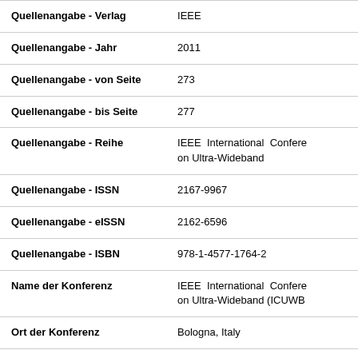| Field | Value |
| --- | --- |
| Quellenangabe - Verlag | IEEE |
| Quellenangabe - Jahr | 2011 |
| Quellenangabe - von Seite | 273 |
| Quellenangabe - bis Seite | 277 |
| Quellenangabe - Reihe | IEEE International Conference on Ultra-Wideband |
| Quellenangabe - ISSN | 2167-9967 |
| Quellenangabe - eISSN | 2162-6596 |
| Quellenangabe - ISBN | 978-1-4577-1764-2 |
| Name der Konferenz | IEEE International Conference on Ultra-Wideband (ICUWB) |
| Ort der Konferenz | Bologna, Italy |
| Beginn der Konferenz | 2011-09-14 |
| Ende der Konferenz | 2011-09-16 |